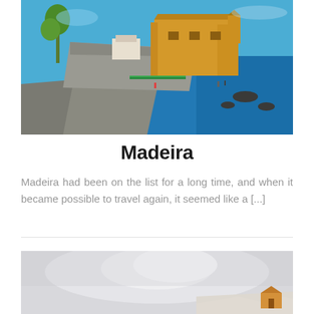[Figure (photo): Coastal view of Madeira showing a yellow fort/building by the sea, rocky shoreline, blue sky, and people near the water]
Madeira
Madeira had been on the list for a long time, and when it became possible to travel again, it seemed like a [...]
[Figure (photo): Misty/foggy landscape scene, partially visible, with snowy or sandy terrain visible at bottom right corner with a small building icon overlay]